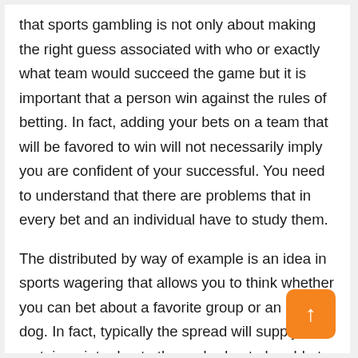that sports gambling is not only about making the right guess associated with who or exactly what team would succeed the game but it is important that a person win against the rules of betting. In fact, adding your bets on a team that will be favored to win will not necessarily imply you are confident of your successful. You need to understand that there are problems that in every bet and an individual have to study them.
The distributed by way of example is an idea in sports wagering that allows you to think whether you can bet about a favorite group or an under dog. In fact, typically the spread will supply a certain point edge to the underdog to be able to make the be not one-sided. With a understanding on these concepts, you may indeed help on your own on